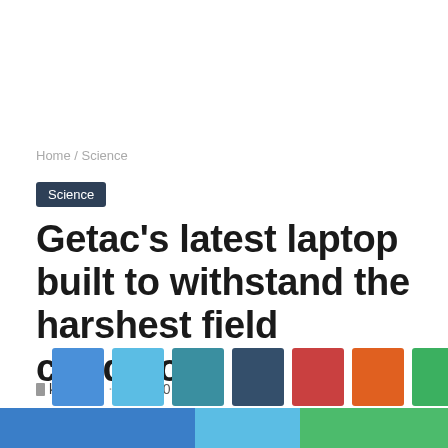Home / Science
Science
Getac’s latest laptop built to withstand the harshest field conditions
kriskaito · June 20, 2022
[Figure (infographic): Bottom decorative area with colored squares (blue, light blue, teal, dark slate, red, orange, green, teal-dark) above three wide color bands (blue, light blue, green)]